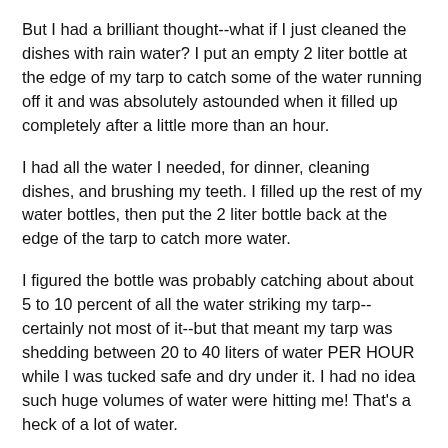But I had a brilliant thought--what if I just cleaned the dishes with rain water? I put an empty 2 liter bottle at the edge of my tarp to catch some of the water running off it and was absolutely astounded when it filled up completely after a little more than an hour.
I had all the water I needed, for dinner, cleaning dishes, and brushing my teeth. I filled up the rest of my water bottles, then put the 2 liter bottle back at the edge of the tarp to catch more water.
I figured the bottle was probably catching about about 5 to 10 percent of all the water striking my tarp--certainly not most of it--but that meant my tarp was shedding between 20 to 40 liters of water PER HOUR while I was tucked safe and dry under it. I had no idea such huge volumes of water were hitting me! That's a heck of a lot of water.
In any case, any worries I had about running out of water went out the window. I had all the water I could possibly need readily available.
I finished the Domke's Digest shortly after sunset when...